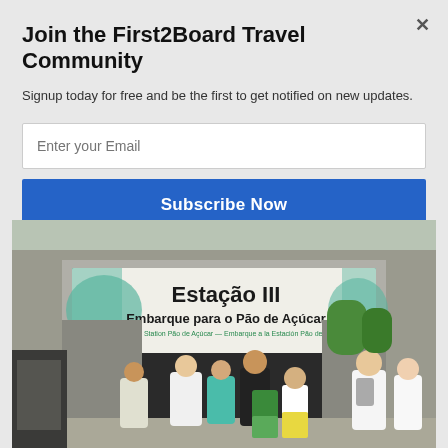Join the First2Board Travel Community
Signup today for free and be the first to get notified on new updates.
[Figure (photo): Photo of Estação III - Embarque para o Pão de Açúcar station entrance with crowd of people waiting to board the cable car in Rio de Janeiro, Brazil. Sign reads: Estação III, Embarque para o Pão de Açúcar, Boarding to Station Pão de Açúcar, Embarque a la Estación Pão de Açúcar.]